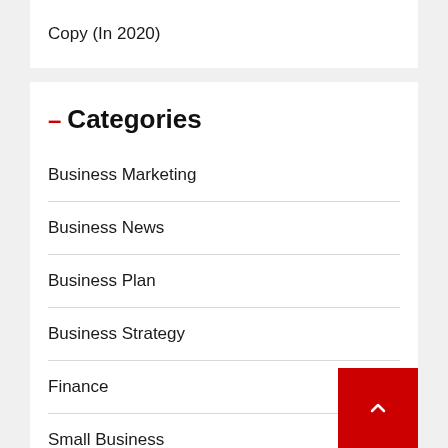Copy (In 2020)
– Categories
Business Marketing
Business News
Business Plan
Business Strategy
Finance
Small Business